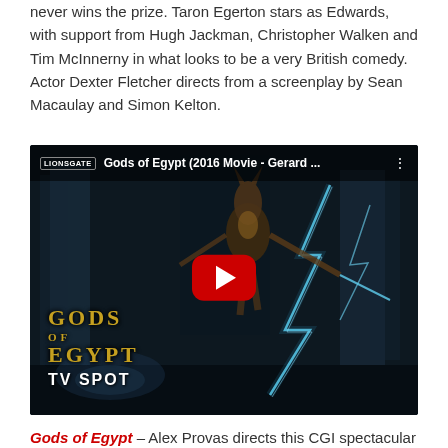never wins the prize. Taron Egerton stars as Edwards, with support from Hugh Jackman, Christopher Walken and Tim McInnerny in what looks to be a very British comedy. Actor Dexter Fletcher directs from a screenplay by Sean Macaulay and Simon Kelton.
[Figure (screenshot): YouTube video thumbnail for 'Gods of Egypt (2016 Movie - Gerard ...' by LIONSGATE. Shows a dark CGI scene with an Egyptian god warrior figure holding weapons with lightning effects. Overlay shows the 'GODS OF EGYPT TV SPOT' title text in gold and white. A red YouTube play button is centered on the thumbnail.]
Gods of Egypt – Alex Provas directs this CGI spectacular taking